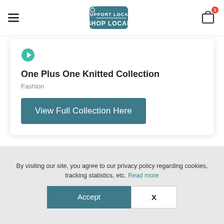[Figure (logo): Support Local Shop Local tag logo with teal color]
[Figure (infographic): Shopping bag icon with cart item count badge showing 1]
[Figure (logo): Teal circular icon with arrow/navigation symbol]
One Plus One Knitted Collection
Fashion
View Full Collection Here
1
2
→
By visiting our site, you agree to our privacy policy regarding cookies, tracking statistics, etc. Read more
Accept
X